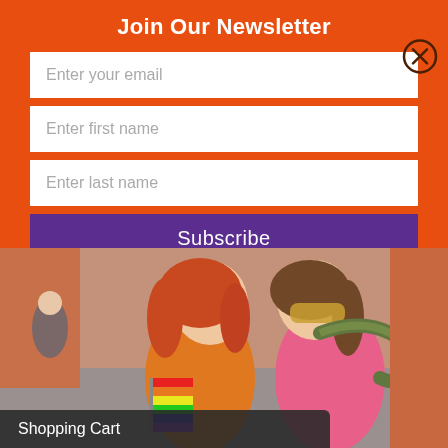Join Our Newsletter
Enter your email
Enter first name
Enter last name
Subscribe
[Figure (photo): Two young women smiling outdoors, one holding a rainbow pride flag and one with a snake around her shoulders, at what appears to be a street festival.]
Shopping Cart